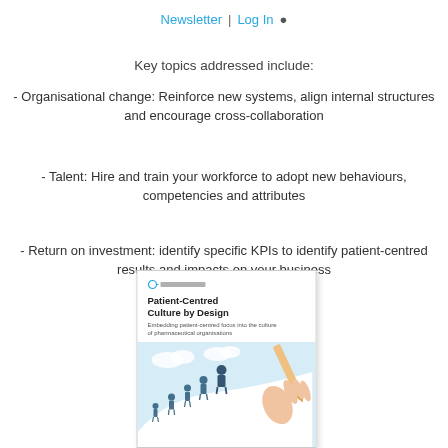Newsletter | Log In
Key topics addressed include:
- Organisational change: Reinforce new systems, align internal structures and encourage cross-collaboration
- Talent: Hire and train your workforce to adopt new behaviours, competencies and attributes
- Return on investment: identify specific KPIs to identify patient-centred results and impacts on your business
[Figure (photo): Book cover of 'Patient-Centred Culture by Design' showing people walking up a path with a hand holding a pencil in the background, light blue illustration style]